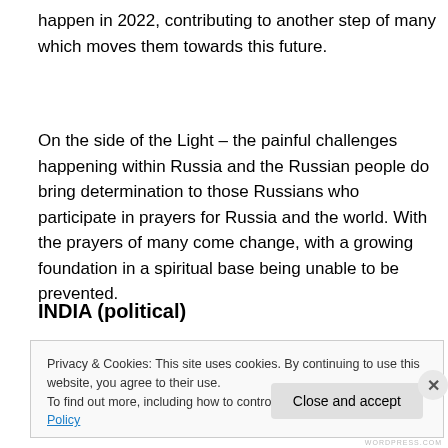happen in 2022, contributing to another step of many which moves them towards this future.
On the side of the Light – the painful challenges happening within Russia and the Russian people do bring determination to those Russians who participate in prayers for Russia and the world. With the prayers of many come change, with a growing foundation in a spiritual base being unable to be prevented.
INDIA (political)
Privacy & Cookies: This site uses cookies. By continuing to use this website, you agree to their use.
To find out more, including how to control cookies, see here: Cookie Policy